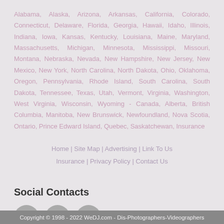Alabama, Alaska, Arizona, Arkansas, California, Colorado, Connecticut, Delaware, Florida, Georgia, Hawaii, Idaho, Illinois, Indiana, Iowa, Kansas, Kentucky, Louisiana, Maine, Maryland, Massachusetts, Michigan, Minnesota, Mississippi, Missouri, Montana, Nebraska, Nevada, New Hampshire, New Jersey, New Mexico, New York, North Carolina, North Dakota, Ohio, Oklahoma, Oregon, Pennsylvania, Rhode Island, South Carolina, South Dakota, Tennessee, Texas, Utah, Vermont, Virginia, Washington, West Virginia, Wisconsin, Wyoming - Canada, Alberta, British Columbia, Manitoba, New Brunswick, Newfoundland, Nova Scotia, Ontario, Prince Edward Island, Quebec, Saskatchewan, Insurance
Home | Site Map | Advertising | Link To Us Insurance | Privacy Policy | Contact Us
Social Contacts
[Figure (other): Three circular social media icons: Facebook (f), Twitter (bird), Instagram (camera)]
Copyright © 1998 - 2022 WeDJ.com - Dis-Photographers-Videographers